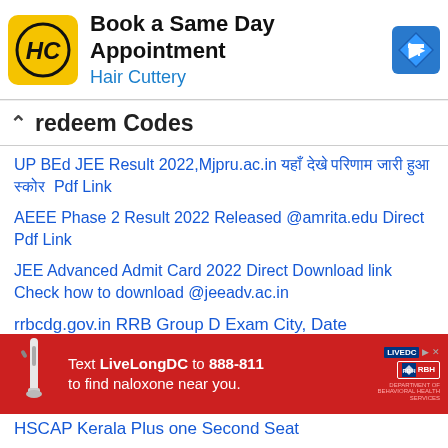[Figure (infographic): Hair Cuttery advertisement banner with yellow logo, 'Book a Same Day Appointment' headline, blue navigation arrow icon on right]
redeem Codes
UP BEd JEE Result 2022,Mjpru.ac.in यहाँ देखे परिणाम जारी हुआ स्कोर  Pdf Link
AEEE Phase 2 Result 2022 Released @amrita.edu Direct Pdf Link
JEE Advanced Admit Card 2022 Direct Download link Check how to download @jeeadv.ac.in
rrbcdg.gov.in RRB Group D Exam City, Date
[Figure (infographic): Red advertisement banner: Text LiveLongDC to 888-811 to find naloxone near you, with logos]
HSCAP Kerala Plus one Second Seat